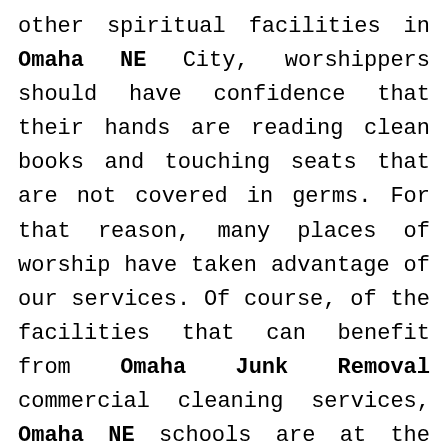other spiritual facilities in Omaha NE City, worshippers should have confidence that their hands are reading clean books and touching seats that are not covered in germs. For that reason, many places of worship have taken advantage of our services. Of course, of the facilities that can benefit from Omaha Junk Removal commercial cleaning services, Omaha NE schools are at the forefront. With the hundreds of students that pass through the halls each day, classrooms are often covered in dust and germs. With Omaha Junk Removal commercial cleaning, Omaha NE schools keep kids safe from germs and healthy throughout the school year. Even medical facilities have benefitted from our top-of-the-line